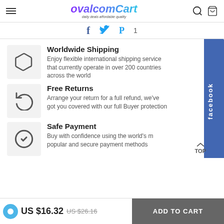ovalcomcart - daily deals affordable quality
[Figure (infographic): Social sharing icons: Facebook f, Twitter bird, Pinterest P with count 1]
Worldwide Shipping
Enjoy flexible international shipping services that currently operate in over 200 countries across the world
Free Returns
Arrange your return for a full refund, we've got you covered with our full Buyer protection
Safe Payment
Buy with confidence using the world's most popular and secure payment methods
US $16.32  US $26.16  ADD TO CART